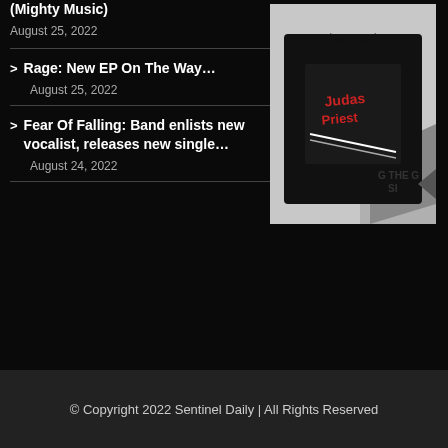(Mighty Music)
August 25, 2022
Rage: New EP On The Way…
August 25, 2022
[Figure (photo): A black t-shirt with a band graphic featuring stylized hand/blade imagery, displayed against a light background with partial text visible]
Fear Of Falling: Band enlists new vocalist, releases new single…
August 24, 2022
© Copyright 2022 Sentinel Daily | All Rights Reserved